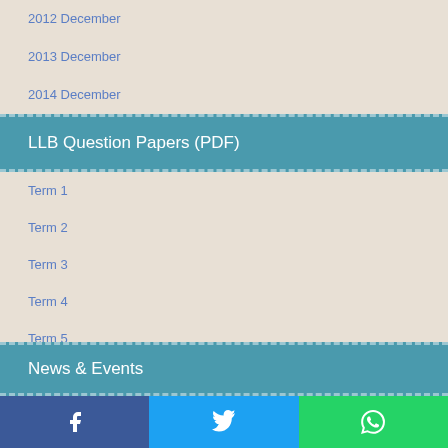2012 December
2013 December
2014 December
LLB Question Papers (PDF)
Term 1
Term 2
Term 3
Term 4
Term 5
Term 6
News & Events